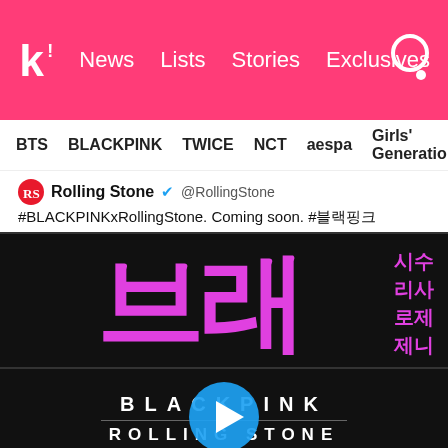k! News  Lists  Stories  Exclusives
BTS  BLACKPINK  TWICE  NCT  aespa  Girls' Generation
Rolling Stone @RollingStone
#BLACKPINKxRollingStone. Coming soon. #블랙핑크
[Figure (screenshot): BLACKPINK x Rolling Stone promotional image with large pink Korean characters (브래) and Korean names (시수, 리사, 로제, 제니) on black background]
[Figure (screenshot): BLACKPINK x ROLLING STONE logo on black background with play button overlay]
[Figure (screenshot): BLACKPINK x Rolling Stone promotional image with large pink Korean characters and names (제니, 지수) on black background]